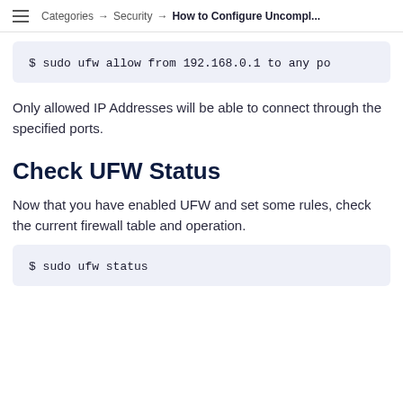Categories → Security → How to Configure Uncompl...
$ sudo ufw allow from 192.168.0.1 to any po
Only allowed IP Addresses will be able to connect through the specified ports.
Check UFW Status
Now that you have enabled UFW and set some rules, check the current firewall table and operation.
$ sudo ufw status